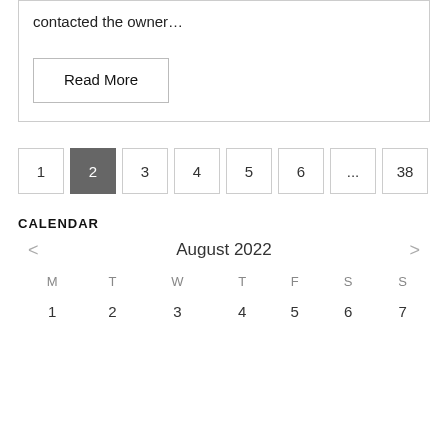contacted the owner…
Read More
1
2
3
4
5
6
...
38
CALENDAR
August 2022
| M | T | W | T | F | S | S |
| --- | --- | --- | --- | --- | --- | --- |
| 1 | 2 | 3 | 4 | 5 | 6 | 7 |